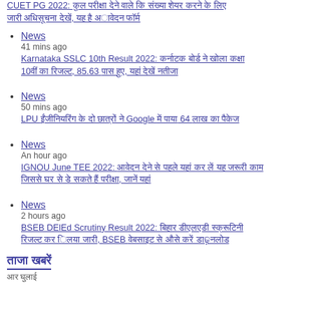News
41 mins ago
Karnataka SSLC 10th Result 2022: [Hindi text] 10[Hindi] [Hindi text], 85.63 [Hindi text], [Hindi text]
News
50 mins ago
LPU [Hindi text] Google [Hindi text] 64 [Hindi text]
News
An hour ago
IGNOU June TEE 2022: [Hindi text]
News
2 hours ago
BSEB DElEd Scrutiny Result 2022: [Hindi text], BSEB [Hindi text]
[Hindi: ताजा खबरें]
[Hindi text continued]